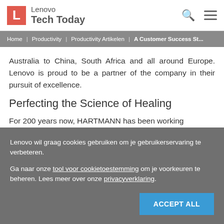Lenovo Tech Today
Home | Productivity | Productivity Artikelen | A Customer Success St...
Australia to China, South Africa and all around Europe. Lenovo is proud to be a partner of the company in their pursuit of excellence.
Perfecting the Science of Healing
For 200 years now, HARTMANN has been working
Lenovo wil graag cookies gebruiken om je gebruikerservaring te verbeteren.
Ga naar onze tool voor cookietoestemming om je voorkeuren te beheren. Lees meer over onze privacyverklaring.
ACCEPT ALL